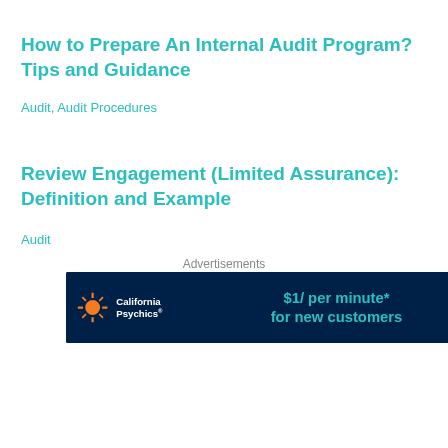How to Prepare An Internal Audit Program? Tips and Guidance
Audit, Audit Procedures
Review Engagement (Limited Assurance): Definition and Example
Audit
Advertisements
[Figure (other): California Psychics advertisement banner: '$1/ per minute* for new customers' with Sign up now button on dark blue background]